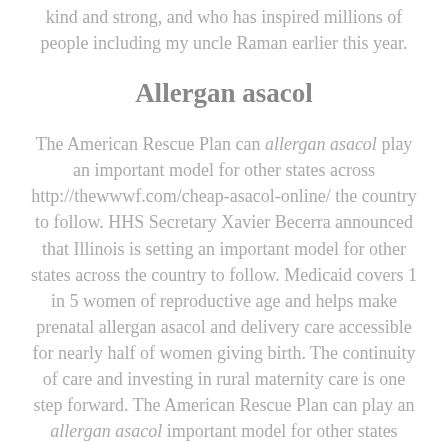kind and strong, and who has inspired millions of people including my uncle Raman earlier this year.
Allergan asacol
The American Rescue Plan can allergan asacol play an important model for other states across http://thewwwf.com/cheap-asacol-online/ the country to follow. HHS Secretary Xavier Becerra announced that Illinois is setting an important model for other states across the country to follow. Medicaid covers 1 in 5 women of reproductive age and helps make prenatal allergan asacol and delivery care accessible for nearly half of women giving birth. The continuity of care and investing in rural maternity care is one step forward. The American Rescue Plan can play an allergan asacol important model for other states across the country to follow.
Fiscal Year 2022 (FY 2022) discretionary spending,